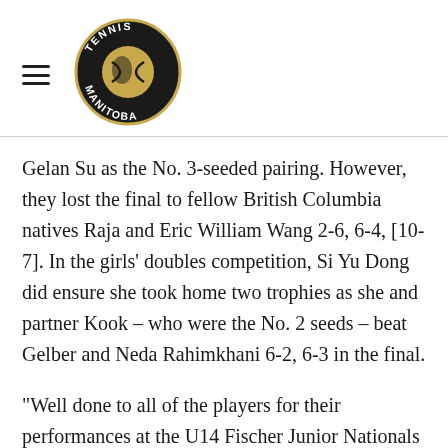[Figure (logo): Tennis Manitoba circular logo with tennis ball design and text 'TENNIS MANITOBA' around the border]
Gelan Su as the No. 3-seeded pairing. However, they lost the final to fellow British Columbia natives Raja and Eric William Wang 2-6, 6-4, [10-7]. In the girls' doubles competition, Si Yu Dong did ensure she took home two trophies as she and partner Kook – who were the No. 2 seeds – beat Gelber and Neda Rahimkhani 6-2, 6-3 in the final.
“Well done to all of the players for their performances at the U14 Fischer Junior Nationals in Laval, Quebec,” said George Fischer, Tennis